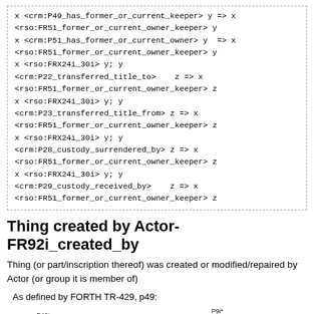x <crm:P49_has_former_or_current_keeper> y => x
<rso:FR51_former_or_current_owner_keeper> y
x <crm:P51_has_former_or_current_owner> y  => x
<rso:FR51_former_or_current_owner_keeper> y
x <rso:FRX24i_30i> y; y
<crm:P22_transferred_title_to>    z => x
<rso:FR51_former_or_current_owner_keeper> z
x <rso:FRX24i_30i> y; y
<crm:P23_transferred_title_from> z => x
<rso:FR51_former_or_current_owner_keeper> z
x <rso:FRX24i_30i> y; y
<crm:P28_custody_surrendered_by> z => x
<rso:FR51_former_or_current_owner_keeper> z
x <rso:FRX24i_30i> y; y
<crm:P29_custody_received_by>    z => x
<rso:FR51_former_or_current_owner_keeper> z
Thing created by Actor- FR92i_created_by
Thing (or part/inscription thereof) was created or modified/repaired by Actor (or group it is member of)
As defined by FORTH TR-429, p49:
[Figure (flowchart): Flowchart showing FC70 nodes connected via P46*, P106*, P92i arrows to E63 Beginning of Existence, with P9i* self-loop and additional node P to the right]